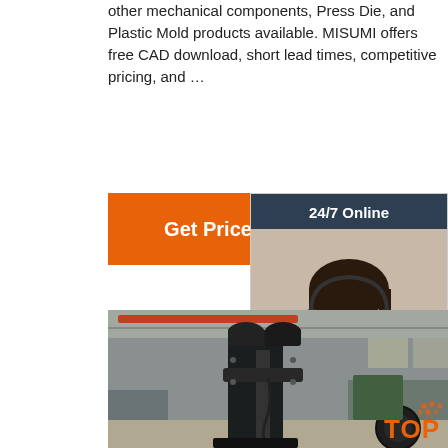other mechanical components, Press Die, and Plastic Mold products available. MISUMI offers free CAD download, short lead times, competitive pricing, and …
[Figure (other): Orange 'Get Price' button]
[Figure (other): 24/7 Online chat widget with agent photo, 'Click here for free chat!' text and orange QUOTATION button]
[Figure (photo): Industrial machinery photo showing large black mechanical press/stamping machine in a factory warehouse setting]
[Figure (logo): Orange TOP badge/logo in bottom right corner]